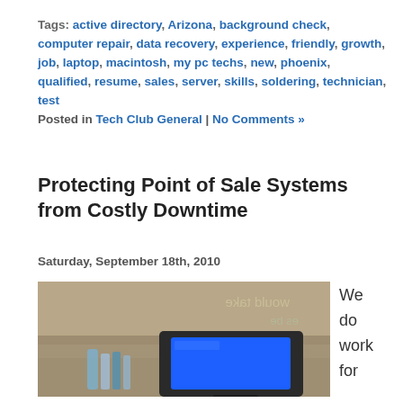Tags: active directory, Arizona, background check, computer repair, data recovery, experience, friendly, growth, job, laptop, macintosh, my pc techs, new, phoenix, qualified, resume, sales, server, skills, soldering, technician, test
Posted in Tech Club General | No Comments »
Protecting Point of Sale Systems from Costly Downtime
Saturday, September 18th, 2010
[Figure (photo): Photo of a point of sale terminal with a blue screen display, in a restaurant or retail setting with blurred background showing text on glass.]
We do work for